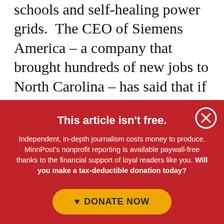schools and self-healing power grids.  The CEO of Siemens America – a company that brought hundreds of new jobs to North Carolina – has said that if we upgrade our infrastructure, they'll bring even more jobs.  And I know that you want these job-creating projects in your
This article isn't free.
Independent, in-depth journalism costs money to produce. MinnPost's nonprofit reporting is available paywall-free thanks to the financial support of loyal readers like you. Will you make a tax-deductible donation today?
DONATE NOW